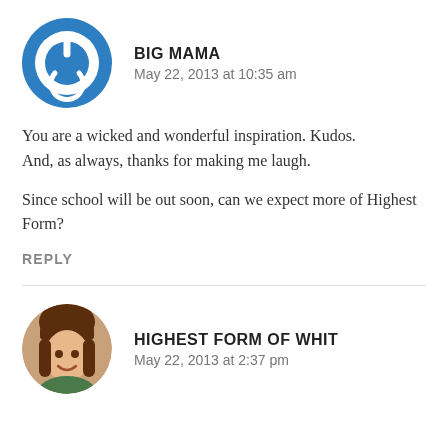[Figure (illustration): Blue circular power button icon avatar for Big Mama commenter]
BIG MAMA
May 22, 2013 at 10:35 am
You are a wicked and wonderful inspiration. Kudos. And, as always, thanks for making me laugh.
Since school will be out soon, can we expect more of Highest Form?
REPLY
[Figure (photo): Circular profile photo of a young woman with bangs, smiling]
HIGHEST FORM OF WHIT
May 22, 2013 at 2:37 pm